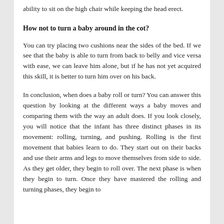ability to sit on the high chair while keeping the head erect.
How not to turn a baby around in the cot?
You can try placing two cushions near the sides of the bed. If we see that the baby is able to turn from back to belly and vice versa with ease, we can leave him alone, but if he has not yet acquired this skill, it is better to turn him over on his back.
In conclusion, when does a baby roll or turn? You can answer this question by looking at the different ways a baby moves and comparing them with the way an adult does. If you look closely, you will notice that the infant has three distinct phases in its movement: rolling, turning, and pushing. Rolling is the first movement that babies learn to do. They start out on their backs and use their arms and legs to move themselves from side to side. As they get older, they begin to roll over. The next phase is when they begin to turn. Once they have mastered the rolling and turning phases, they begin to